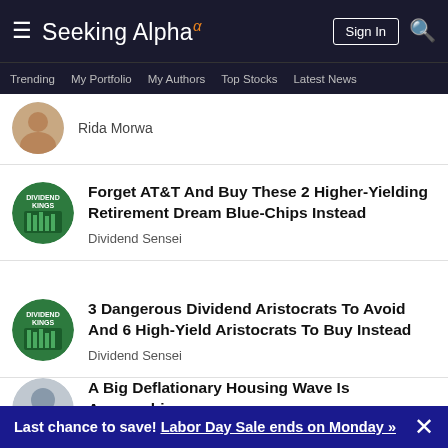Seeking Alpha — Sign In
Trending | My Portfolio | My Authors | Top Stocks | Latest News
Rida Morwa
Forget AT&T And Buy These 2 Higher-Yielding Retirement Dream Blue-Chips Instead
Dividend Sensei
3 Dangerous Dividend Aristocrats To Avoid And 6 High-Yield Aristocrats To Buy Instead
Dividend Sensei
A Big Deflationary Housing Wave Is Approaching
Lawrence Fuller
Last chance to save! Labor Day Sale ends on Monday »